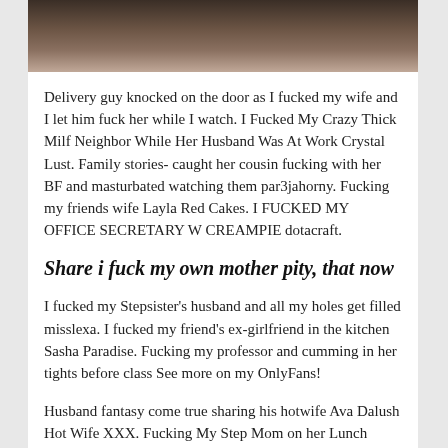[Figure (photo): Partial photo strip at top of page, blurred/dark image of figures on a bed]
Delivery guy knocked on the door as I fucked my wife and I let him fuck her while I watch. I Fucked My Crazy Thick Milf Neighbor While Her Husband Was At Work Crystal Lust. Family stories- caught her cousin fucking with her BF and masturbated watching them par3jahorny. Fucking my friends wife Layla Red Cakes. I FUCKED MY OFFICE SECRETARY W CREAMPIE dotacraft.
Share i fuck my own mother pity, that now
I fucked my Stepsister's husband and all my holes get filled misslexa. I fucked my friend's ex-girlfriend in the kitchen Sasha Paradise. Fucking my professor and cumming in her tights before class See more on my OnlyFans!
Husband fantasy come true sharing his hotwife Ava Dalush Hot Wife XXX. Fucking My Step Mom on her Lunch Break - Cory Chase Cory Chase. Fucking My Step Mom with Huge Tits While She is Stuck under the Bed - Melanie Hicks Luke